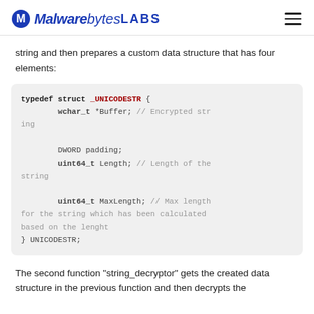Malwarebytes LABS
string and then prepares a custom data structure that has four elements:
[Figure (screenshot): Code block showing C typedef struct _UNICODESTR with fields: wchar_t *Buffer (Encrypted string), DWORD padding, uint64_t Length (Length of the string), uint64_t MaxLength (Max length for the string which has been calculated based on the lenght). Closing with } UNICODESTR;]
The second function "string_decryptor" gets the created data structure in the previous function and then decrypts the